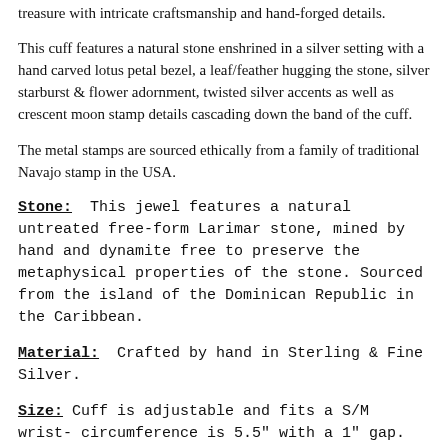treasure with intricate craftsmanship and hand-forged details.
This cuff features a natural stone enshrined in a silver setting with a hand carved lotus petal bezel, a leaf/feather hugging the stone, silver starburst & flower adornment, twisted silver accents as well as crescent moon stamp details cascading down the band of the cuff.
The metal stamps are sourced ethically from a family of traditional Navajo stamp in the USA.
Stone: This jewel features a natural untreated free-form Larimar stone, mined by hand and dynamite free to preserve the metaphysical properties of the stone. Sourced from the island of the Dominican Republic in the Caribbean.
Material: Crafted by hand in Sterling & Fine Silver.
Size: Cuff is adjustable and fits a S/M wrist- circumference is 5.5" with a 1" gap.